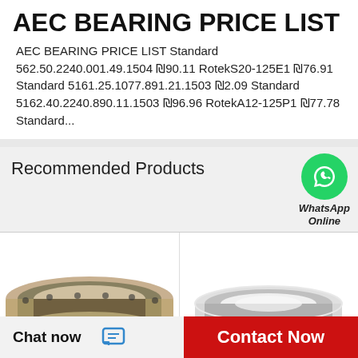AEC BEARING PRICE LIST
AEC BEARING PRICE LIST Standard 562.50.2240.001.49.1504 ₪90.11 RotekS20-125E1 ₪76.91 Standard 5161.25.1077.891.21.1503 ₪2.09 Standard 5162.40.2240.890.11.1503 ₪96.96 RotekA12-125P1 ₪77.78 Standard...
Recommended Products
[Figure (photo): Large slewing ring bearing, dark metallic, viewed from above at slight angle]
[Figure (photo): Tapered roller bearing ring, shiny metallic with ball elements visible, white background]
[Figure (logo): WhatsApp green circle logo icon]
WhatsApp Online
Chat now
Contact Now